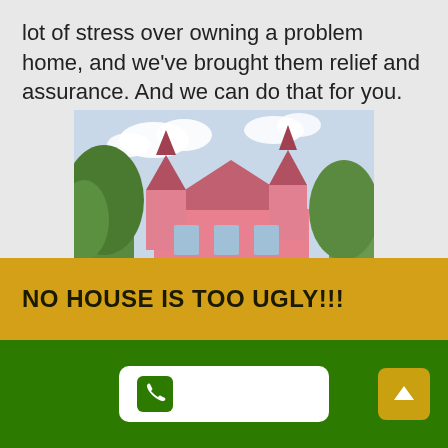lot of stress over owning a problem home, and we've brought them relief and assurance. And we can do that for you.
[Figure (photo): Photo of a large pink Victorian-style house with white picket fence, multiple turrets and wrap-around porch, surrounded by trees. A white rectangle appears to redact a sign in the foreground.]
NO HOUSE IS TOO UGLY!!!
CALL NOW